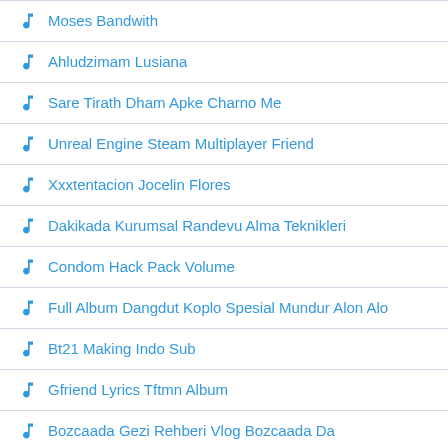Moses Bandwith
Ahludzimam Lusiana
Sare Tirath Dham Apke Charno Me
Unreal Engine Steam Multiplayer Friend
Xxxtentacion Jocelin Flores
Dakikada Kurumsal Randevu Alma Teknikleri
Condom Hack Pack Volume
Full Album Dangdut Koplo Spesial Mundur Alon Alo
Bt21 Making Indo Sub
Gfriend Lyrics Tftmn Album
Bozcaada Gezi Rehberi Vlog Bozcaada Da
Mohara Hindi Songs
Havaianas Concha Isis Valverde
Ben Bilmiyorum Demek De Bir Ilimdir